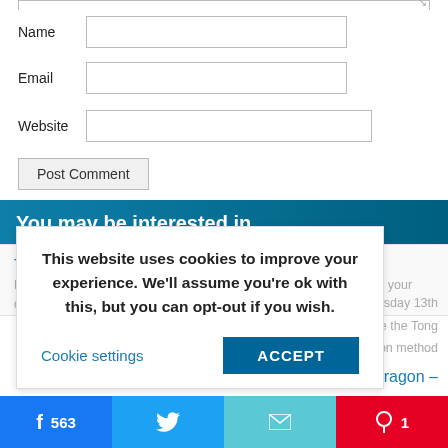Name
Email
Website
Post Comment
You may be interested in
Tong Shu Almanac for Thursday 13th November 2014
Rate this post Hi everyone, I hope you are all well and are enjoying your day. ...sday 13th ...w to use the Tong ...selection method
This website uses cookies to improve your experience. We'll assume you're ok with this, but you can opt-out if you wish.
Cookie settings
ACCEPT
ng Wood Dragon –
563
1